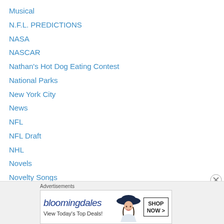Musical
N.F.L. PREDICTIONS
NASA
NASCAR
Nathan's Hot Dog Eating Contest
National Parks
New York City
News
NFL
NFL Draft
NHL
Novels
Novelty Songs
Ohio
Olympics
Photography
[Figure (advertisement): Bloomingdales advertisement with 'View Today's Top Deals!' and 'SHOP NOW >' button, featuring a woman in a hat]